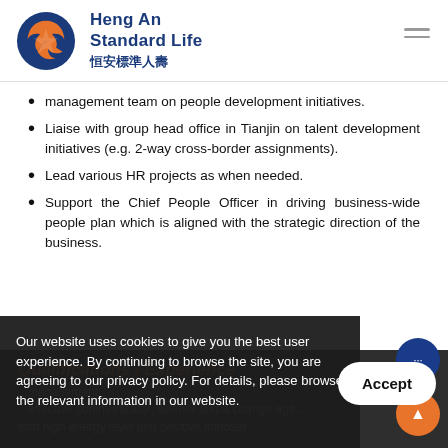Heng An Standard Life 恒安標準人壽
management team on people development initiatives.
Liaise with group head office in Tianjin on talent development initiatives (e.g. 2-way cross-border assignments).
Lead various HR projects as when needed.
Support the Chief People Officer in driving business-wide people plan which is aligned with the strategic direction of the business.
Qualifications / Experience
Our website uses cookies to give you the best user experience. By continuing to browse the site, you are agreeing to our privacy policy. For details, please browse the relevant information in our website.